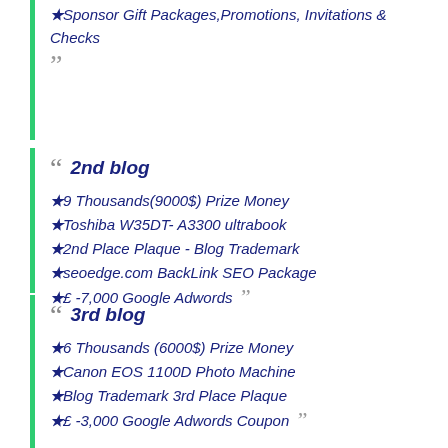★Sponsor Gift Packages,Promotions, Invitations & Checks
2nd blog
★9 Thousands(9000$) Prize Money
★Toshiba W35DT- A3300 ultrabook
★2nd Place Plaque - Blog Trademark
★seoedge.com BackLink SEO Package
★£ -7,000 Google Adwords
3rd blog
★6 Thousands (6000$) Prize Money
★Canon EOS 1100D Photo Machine
★Blog Trademark 3rd Place Plaque
★£ -3,000 Google Adwords Coupon